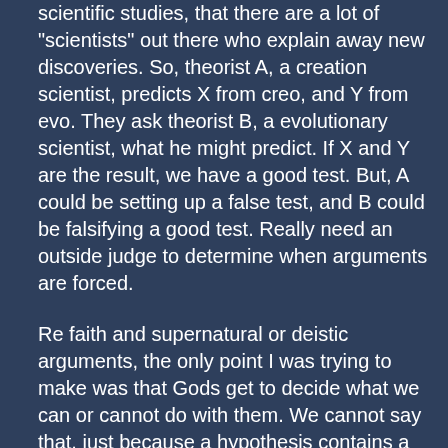scientific studies, that there are a lot of "scientists" out there who explain away new discoveries. So, theorist A, a creation scientist, predicts X from creo, and Y from evo. They ask theorist B, a evolutionary scientist, what he might predict. If X and Y are the result, we have a good test. But, A could be setting up a false test, and B could be falsifying a good test. Really need an outside judge to determine when arguments are forced.
Re faith and supernatural or deistic arguments, the only point I was trying to make was that Gods get to decide what we can or cannot do with them. We cannot say that, just because a hypothesis contains a god of some sort, it is not scientific. That's up to the god. Some gods might stay aloof, others might subject themselves to scientific scrutiny. The God, Jehovah, for example, within certain bounds of decency, allows Himself to be "tested."
The lawyer/scientist comparison allows us to better see who is a "good" and who is a